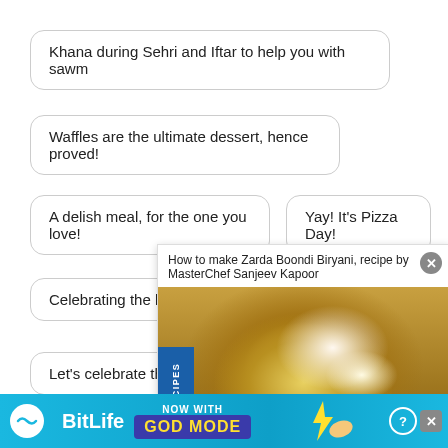Khana during Sehri and Iftar to help you with sawm
Waffles are the ultimate dessert, hence proved!
A delish meal, for the one you love!
Yay! It's Pizza Day!
Celebrating the love f...
Let's celebrate the wo...
Eat, the tri-coloured w...
[Figure (screenshot): Featured recipe overlay showing 'How to make Zarda Boondi Biryani, recipe by MasterChef Sanjeev Kapoor' with a food photo and blue vertical label 'FEATURED RECIPES']
[Figure (screenshot): BitLife advertisement banner with 'NOW WITH GOD MODE' text on blue background]